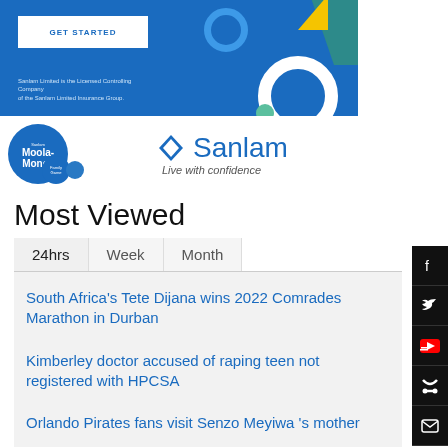[Figure (illustration): Sanlam insurance banner advertisement with blue background, GET STARTED button, decorative circles, and disclaimer text: 'Sanlam Limited is the Licensed Controlling Company of the Sanlam Limited Insurance Group.']
[Figure (logo): Sanlam Moola-Money logo (blue circles with text) and Sanlam brand logo with diamond icon and tagline 'Live with confidence']
Most Viewed
24hrs
Week
Month
South Africa's Tete Dijana wins 2022 Comrades Marathon in Durban
Kimberley doctor accused of raping teen not registered with HPCSA
Orlando Pirates fans visit Senzo Meyiwa 's mother